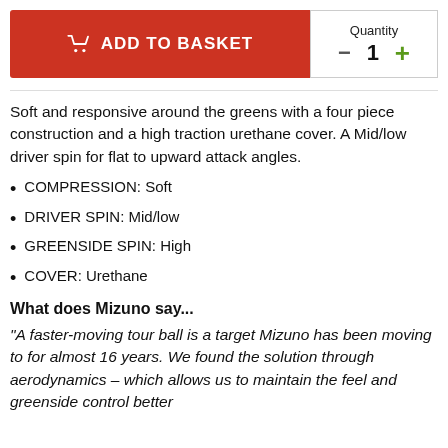ADD TO BASKET
Quantity 1
Soft and responsive around the greens with a four piece construction and a high traction urethane cover. A Mid/low driver spin for flat to upward attack angles.
COMPRESSION: Soft
DRIVER SPIN: Mid/low
GREENSIDE SPIN: High
COVER: Urethane
What does Mizuno say...
"A faster-moving tour ball is a target Mizuno has been moving to for almost 16 years. We found the solution through aerodynamics – which allows us to maintain the feel and greenside control better